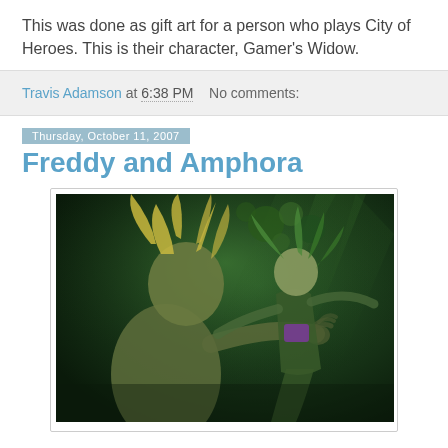This was done as gift art for a person who plays City of Heroes. This is their character, Gamer's Widow.
Travis Adamson at 6:38 PM   No comments:
Thursday, October 11, 2007
Freddy and Amphora
[Figure (illustration): Digital painting of two fantasy characters in a dark green underwater or forest scene. On the left is a creature with horns and wild blonde hair viewed from behind. On the right is a female character with green flowing hair reaching toward the creature, wearing purple accents. The background is deep green with swirling light rays.]